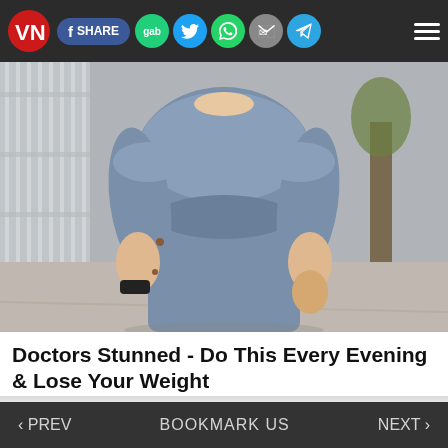VN | f SHARE | gab | Twitter | WhatsApp | Email | Telegram | Menu
[Figure (photo): Woman wearing a grey/blue form-fitting short-sleeve dress or scrubs, outdoors on a sidewalk with a fence and tree in the background. Only torso and arms visible.]
Doctors Stunned - Do This Every Evening & Lose Your Weight
[Figure (photo): Partial image of a light grey/beige background, possibly a surface or advertisement image, partially cropped.]
‹ PREV    BOOKMARK US    NEXT ›